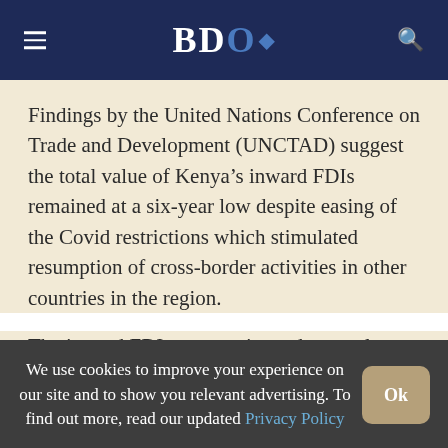BDO Africa
Findings by the United Nations Conference on Trade and Development (UNCTAD) suggest the total value of Kenya’s inward FDIs remained at a six-year low despite easing of the Covid restrictions which stimulated resumption of cross-border activities in other countries in the region.
The inward FDIs were estimated at nearly
We use cookies to improve your experience on our site and to show you relevant advertising. To find out more, read our updated Privacy Policy